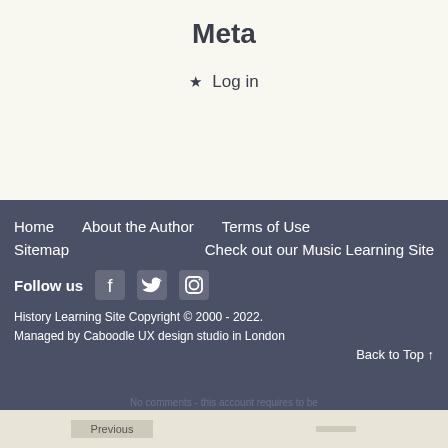Meta
Log in
Home    About the Author    Terms of Use
Sitemap    Check out our Music Learning Site
Follow us
History Learning Site Copyright © 2000 - 2022.
Managed by Caboodle UX design studio in London
Back to Top ↑